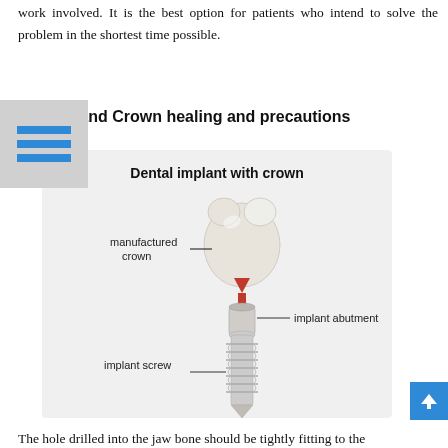work involved. It is the best option for patients who intend to solve the problem in the shortest time possible.
Implant and Crown healing and precautions
[Figure (illustration): Diagram of a dental implant with crown showing three labeled parts: manufactured crown (tooth-shaped white cap at top), implant abutment (cylindrical connector piece), and implant screw (threaded screw at bottom). A red downward arrow indicates the direction of assembly. Background is light gray.]
The hole drilled into the jaw bone should be tightly fitting to the